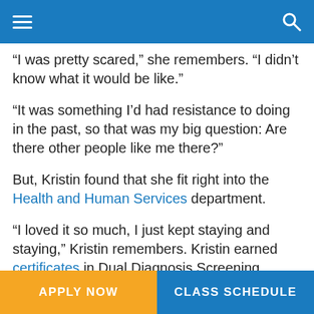“I was pretty scared,” she remembers. “I didn’t know what it would be like.”
“It was something I’d had resistance to doing in the past, so that was my big question: Are there other people like me there?”
But, Kristin found that she fit right into the Health and Human Services department.
“I loved it so much, I just kept staying and staying,” Kristin remembers. Kristin earned certificates in Dual Diagnosis Screening,
APPLY NOW  CLASS SCHEDULE